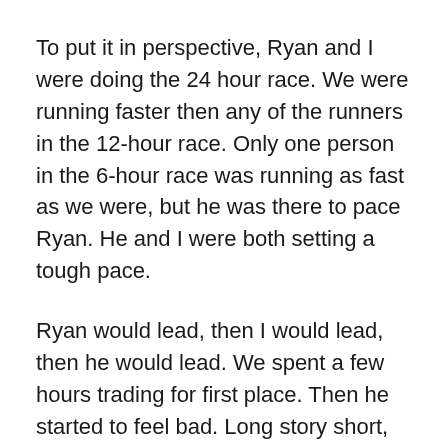To put it in perspective, Ryan and I were doing the 24 hour race. We were running faster then any of the runners in the 12-hour race. Only one person in the 6-hour race was running as fast as we were, but he was there to pace Ryan. He and I were both setting a tough pace.
Ryan would lead, then I would lead, then he would lead. We spent a few hours trading for first place. Then he started to feel bad. Long story short, Ryan took a break and ended up dry heaving and calls the race. He covered 62.397 miles before dropping. It was a huge effort up to that point. I really hated to see him drop for a few reasons. 1.) He's a hell of an ultra runner, I hate to see him drop. 2.) He's a buddy of mine, hate to see him suffer 3.) He was my only competition, part of my motivation to keep pushing myself. Now the race was basically mine to loose.